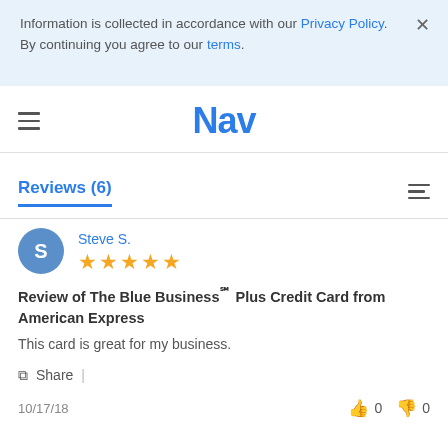Information is collected in accordance with our Privacy Policy. By continuing you agree to our terms.
[Figure (logo): Nav logo in blue bold text]
Reviews (6)
Steve S.
5 stars
Review of The Blue Business℠ Plus Credit Card from American Express
This card is great for my business.
Share
10/17/18
0 0